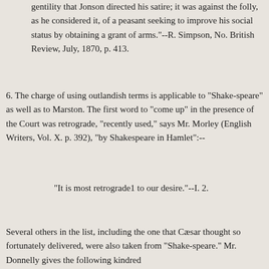it was not against the middle-rank of the county gentility that Jonson directed his satire; it was against the folly, as he considered it, of a peasant seeking to improve his social status by obtaining a grant of arms."--R. Simpson, No. British Review, July, 1870, p. 413.
6. The charge of using outlandish terms is applicable to "Shake-speare" as well as to Marston. The first word to "come up" in the presence of the Court was retrograde, "recently used," says Mr. Morley (English Writers, Vol. X. p. 392), "by Shakespeare in Hamlet":--
"It is most retrograde1 to our desire."--I. 2.
Several others in the list, including the one that Cæsar thought so fortunately delivered, were also taken from "Shake-speare." Mr. Donnelly gives the following kindred